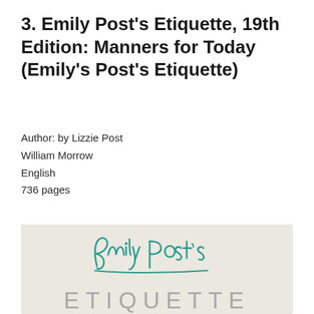3. Emily Post's Etiquette, 19th Edition: Manners for Today (Emily's Post's Etiquette)
Author: by Lizzie Post
William Morrow
English
736 pages
[Figure (logo): Book cover with beige/cream background showing 'Emily Post's' in teal cursive handwriting script above 'ETIQUETTE' in large light gray spaced capital letters.]